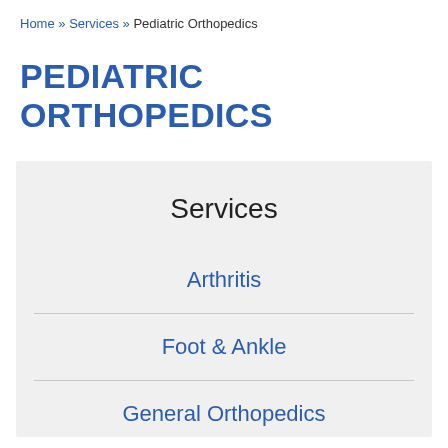Home » Services » Pediatric Orthopedics
PEDIATRIC ORTHOPEDICS
Services
Arthritis
Foot & Ankle
General Orthopedics